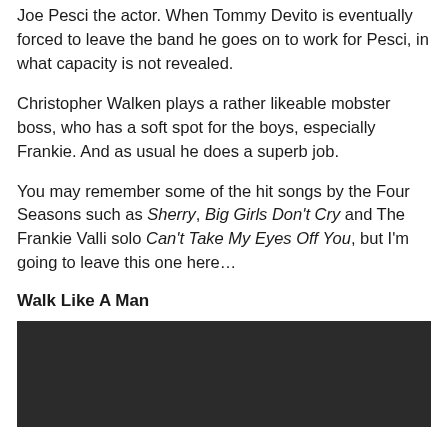Joe Pesci the actor. When Tommy Devito is eventually forced to leave the band he goes on to work for Pesci, in what capacity is not revealed.
Christopher Walken plays a rather likeable mobster boss, who has a soft spot for the boys, especially Frankie. And as usual he does a superb job.
You may remember some of the hit songs by the Four Seasons such as Sherry, Big Girls Don't Cry and The Frankie Valli solo Can't Take My Eyes Off You, but I'm going to leave this one here...
Walk Like A Man
[Figure (photo): Dark/black rectangular image, likely a video embed or movie still]